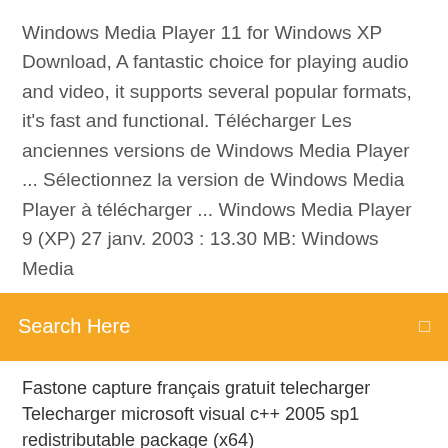Windows Media Player 11 for Windows XP Download, A fantastic choice for playing audio and video, it supports several popular formats, it's fast and functional. Télécharger Les anciennes versions de Windows Media Player ... Sélectionnez la version de Windows Media Player à télécharger ... Windows Media Player 9 (XP) 27 janv. 2003 : 13.30 MB: Windows Media
Search Here
Fastone capture français gratuit telecharger
Telecharger microsoft visual c++ 2005 sp1 redistributable package (x64)
Wonderfox dvd video converter serial number
Telecharger effet sonore virtual dj gratuit
Master of orion 2 dosbox télécharger free
The elder scrolls online elsweyr trailer
Mettre windows 7 sur vista
Comment supprimer les photos en double sur google photos